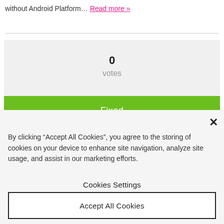without Android Platform… Read more »
0
votes
Fixed
By clicking “Accept All Cookies”, you agree to the storing of cookies on your device to enhance site navigation, analyze site usage, and assist in our marketing efforts.
Cookies Settings
Accept All Cookies